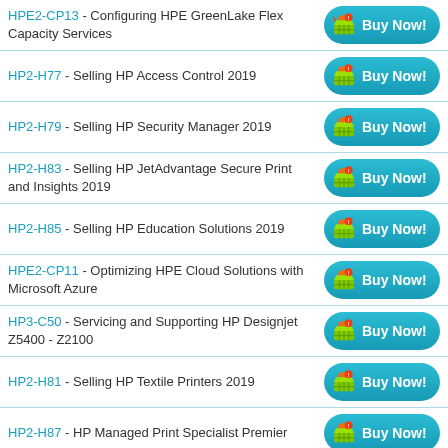HPE2-CP13 - Configuring HPE GreenLake Flex Capacity Services
HP2-H77 - Selling HP Access Control 2019
HP2-H79 - Selling HP Security Manager 2019
HP2-H83 - Selling HP JetAdvantage Secure Print and Insights 2019
HP2-H85 - Selling HP Education Solutions 2019
HPE2-CP11 - Optimizing HPE Cloud Solutions with Microsoft Azure
HP3-C50 - Servicing and Supporting HP Designjet Z5400 - Z2100
HP2-H81 - Selling HP Textile Printers 2019
HP2-H87 - HP Managed Print Specialist Premier